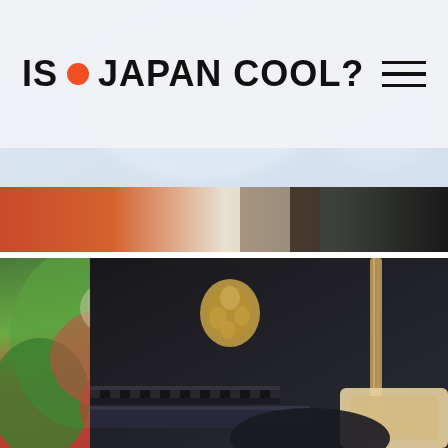[Figure (screenshot): Website header for 'IS JAPAN COOL?' with orange dot logo and hamburger menu icon on a light semi-transparent background, with a blurred photo of a person behind it]
[Figure (photo): Narrow horizontal strip showing a person in a dark kimono-style jacket with hat, against colorful painted background]
[Figure (photo): Close-up photo of a person in a dark jacket with gold floral embroidery on the sleeve, holding a shamisen (traditional Japanese string instrument), with colorful red and green painted background]